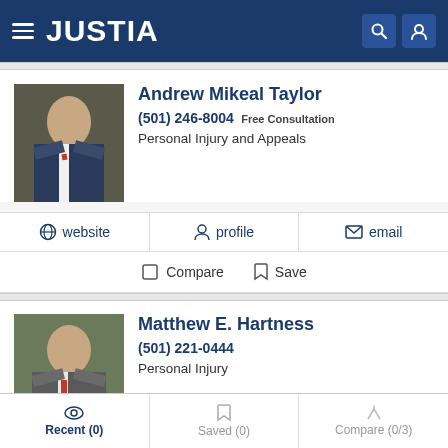JUSTIA
Andrew Mikeal Taylor
(501) 246-8004 Free Consultation
Personal Injury and Appeals
website | profile | email
Compare | Save
Matthew E. Hartness
(501) 221-0444
Personal Injury
website | profile | email
Recent (0) | Saved (0) | Compare (0/3)